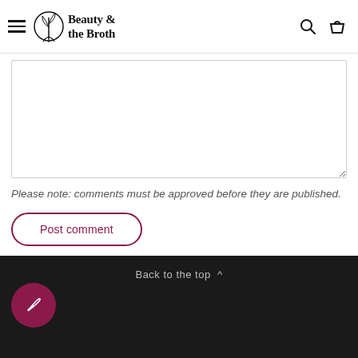Beauty & the Broth
[Figure (other): Comment text input area (textarea field, empty)]
Please note: comments must be approved before they are published.
Post comment
Back to the top ^